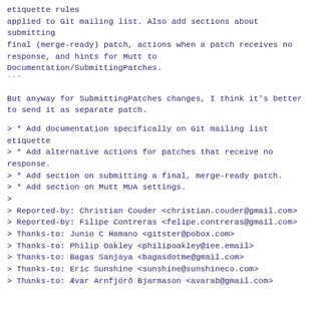etiquette rules
applied to Git mailing list. Also add sections about submitting
final (merge-ready) patch, actions when a patch receives no
response, and hints for Mutt to Documentation/SubmittingPatches.
```
But anyway for SubmittingPatches changes, I think it's better
to send it as separate patch.
> * Add documentation specifically on Git mailing list etiquette
> * Add alternative actions for patches that receive no response.
> * Add section on submitting a final, merge-ready patch.
> * Add section on Mutt MUA settings.
>
> Reported-by: Christian Couder <christian.couder@gmail.com>
> Reported-by: Filipe Contreras <felipe.contreras@gmail.com>
> Thanks-to: Junio C Hamano <gitster@pobox.com>
> Thanks-to: Philip Oakley <philipoakley@iee.email>
> Thanks-to: Bagas Sanjaya <bagasdotme@gmail.com>
> Thanks-to: Eric Sunshine <sunshine@sunshineco.com>
> Thanks-to: Ævar Arnfjörð Bjarmason <avarab@gmail.com>